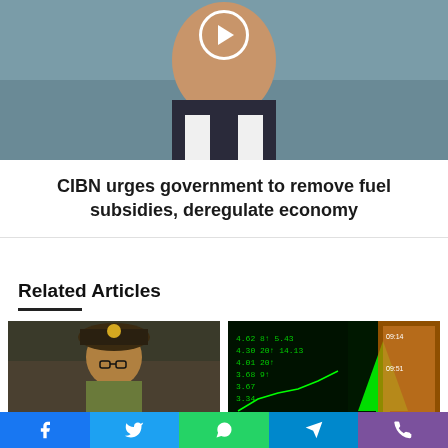[Figure (photo): Portrait photo of a man in a suit, partially visible, with a play button overlay circle at the top]
CIBN urges government to remove fuel subsidies, deregulate economy
Related Articles
[Figure (photo): Photo of Chief of Defence staff, a military officer in camouflage uniform sitting at a desk]
Chief of Defence staff says a Governor cannot direct...
[Figure (photo): Stock market photo showing green upward arrow with financial data on screens]
Share price of company that filed for Bankruptcy...